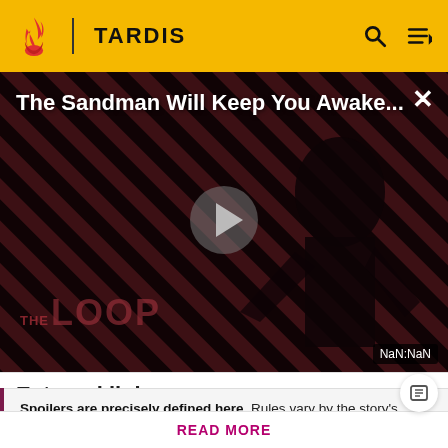TARDIS
[Figure (screenshot): Video player showing The Sandman Will Keep You Awake... with a dark figure against diagonal red and black stripes, THE LOOP logo visible, play button in center, NaN:NaN time display]
External links
Spoilers are precisely defined here. Rules vary by the story's medium. Info from television stories can't be added here
READ MORE